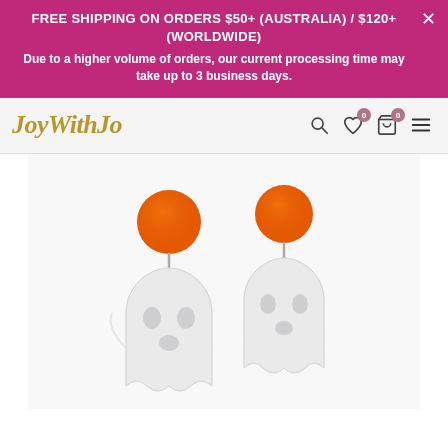FREE SHIPPING ON ORDERS $50+ (AUSTRALIA) / $120+ (WORLDWIDE)
Due to a higher volume of orders, our current processing time may take up to 3 business days.
JoyWithJo
[Figure (photo): Two Halloween ghost earrings with orange circular studs and white frosted ghost-shaped pendants, photographed on a white background.]